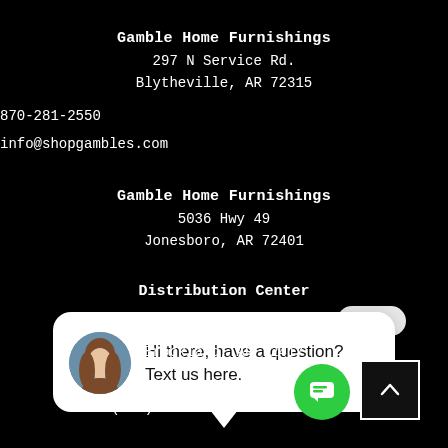Gamble Home Furnishings
297 N Service Rd.
Blytheville, AR 72315
870-281-2550
info@shopgambles.com
Gamble Home Furnishings
5036 Hwy 49
Jonesboro, AR 72401
[Figure (screenshot): Chat popup with avatar photo of a woman, text reading: Hi there, have a question? Text us here. Close button visible top right.]
Distribution Center
24 CR 912
Brookland, AR 72417
(870) 336-3880